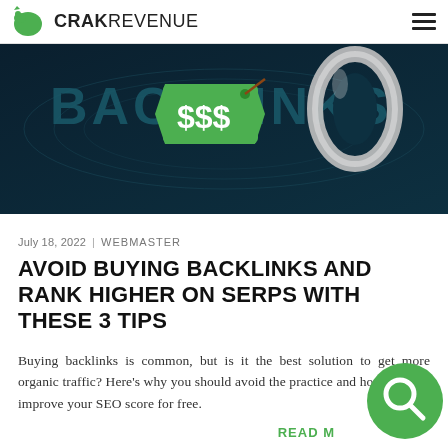CRAKREVENUE
[Figure (photo): Dark teal banner image with 'BACKLINKS' text and a green price tag showing '$$$' attached to a chrome chain link]
July 18, 2022 | WEBMASTER
AVOID BUYING BACKLINKS AND RANK HIGHER ON SERPS WITH THESE 3 TIPS
Buying backlinks is common, but is it the best solution to get more organic traffic? Here's why you should avoid the practice and how you can improve your SEO score for free.
READ M…